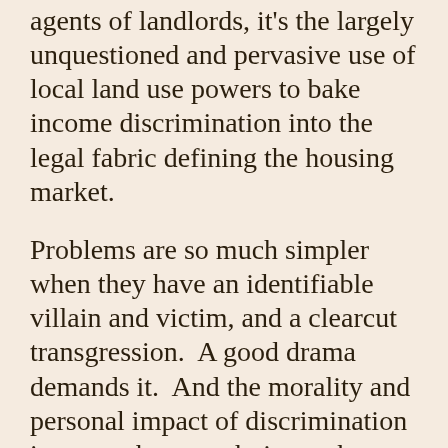agents of landlords, it's the largely unquestioned and pervasive use of local land use powers to bake income discrimination into the legal fabric defining the housing market.
Problems are so much simpler when they have an identifiable villain and victim, and a clearcut transgression.  A good drama demands it.  And the morality and personal impact of discrimination is so much more obvious when we can talk about how one person, by a single decision, mistreats another person.  This happens, and is egregious and wrong, and under the Fair Housing Act, illegal.